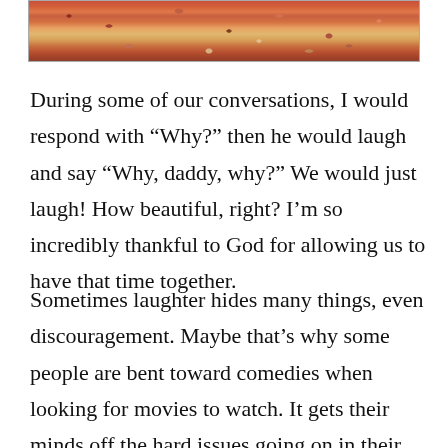[Figure (photo): A photo showing autumn-colored leaves or ground cover in warm red, orange, and brown tones, cropped at the bottom of the frame.]
During some of our conversations, I would respond with “Why?”  then he would laugh and say “Why, daddy, why?”  We would just laugh!  How beautiful, right?  I’m so incredibly thankful to God for allowing us to have that time together.
Sometimes laughter hides many things, even discouragement.  Maybe that’s why some people are bent toward comedies when looking for movies to watch.  It gets their minds off the hard issues going on in their lives.  For me,  I just like